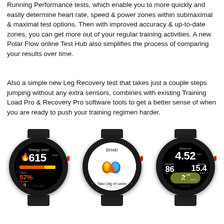Running Performance tests, which enable you to more quickly and easily determine heart rate, speed & power zones within submaximal & maximal test options. Then with improved accuracy & up-to-date zones, you can get more out of your regular training activities. A new Polar Flow online Test Hub also simplifies the process of comparing your results over time.
Also a simple new Leg Recovery test that takes just a couple steps jumping without any extra sensors, combines with existing Training Load Pro & Recovery Pro software tools to get a better sense of when you are ready to push your training regimen harder.
[Figure (photo): Three Polar GPS sport watches showing different screen displays: left watch shows energy used (615 kcal, 57% carbs), middle watch shows a hydration reminder (Drink! Take 10g of carbs) with flame and water drop icons, right watch shows running stats (distance 4.52 km, ascent 86m, speed 15.4 km/h, 2nd place)]